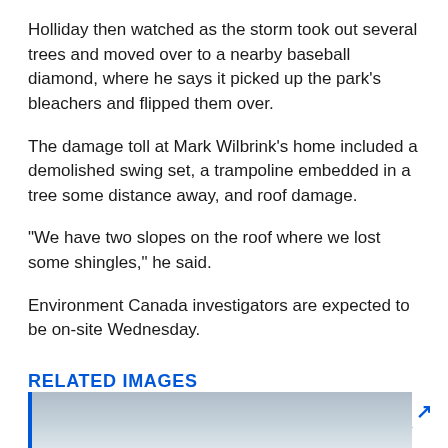Holliday then watched as the storm took out several trees and moved over to a nearby baseball diamond, where he says it picked up the park’s bleachers and flipped them over.
The damage toll at Mark Wilbrink’s home included a demolished swing set, a trampoline embedded in a tree some distance away, and roof damage.
“We have two slopes on the roof where we lost some shingles,” he said.
Environment Canada investigators are expected to be on-site Wednesday.
RELATED IMAGES
[Figure (photo): A photograph preview partially visible at the bottom of the page, showing what appears to be a rooftop or aerial scene in muted grey tones, with a blue left border and a blue horizontal bar across the top.]